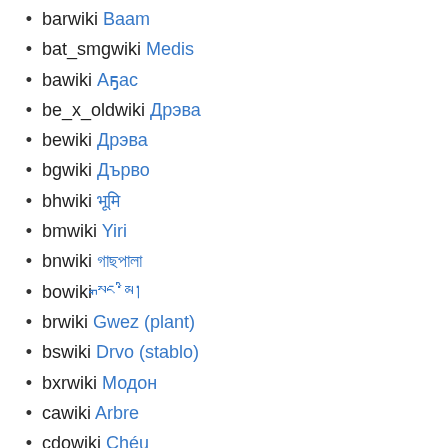barwiki Baam
bat_smgwiki Medis
bawiki Аҕас
be_x_oldwiki Дрэва
bewiki Дрэва
bgwiki Дърво
bhwiki भूमि
bmwiki Yiri
bnwiki গাছপালা
bowiki སྒང་མི།
brwiki Gwez (plant)
bswiki Drvo (stablo)
bxrwiki Модон
cawiki Arbre
cdowiki Chéu
cewiki Литт